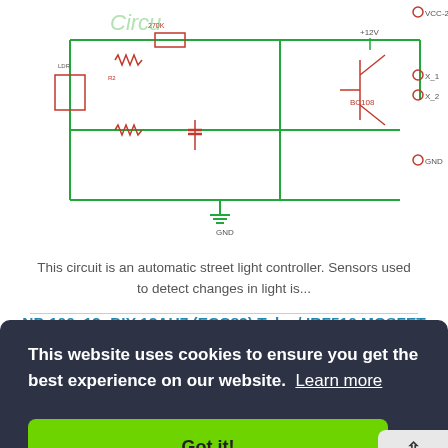[Figure (circuit-diagram): Electronic circuit diagram for an automatic street light controller with sensors, resistors, capacitors, transistor BC108, and connector components on green/red PCB schematic.]
This circuit is an automatic street light controller. Sensors used to detect changes in light is...
NP-100v12: DIY 12AU7 (ECC82) Tube / IRF510 MOSFET Headphone Amplifier
[Figure (circuit-diagram): Partial circuit diagram for NP-100v12 DIY 12AU7 Tube / IRF510 MOSFET Headphone Amplifier showing only one channel, with 12 vdc supply, P1/R3 50K/4k7 potentiometer, transistor Q1 (IRF510, IRF610, IRF611, IRF612), gate and drain connections.]
This website uses cookies to ensure you get the best experience on our website.  Learn more
Got it!